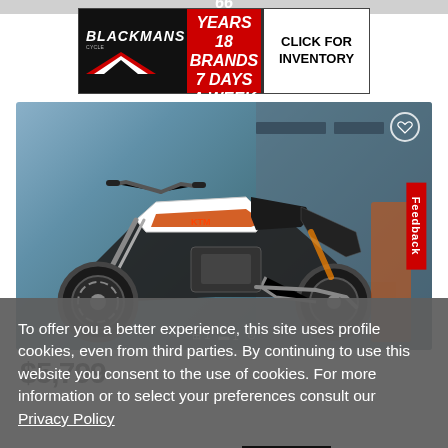[Figure (photo): KTM motorcycle (white, black and orange/red) displayed in a showroom setting, side profile view showing front forks, engine, and rear suspension]
$5,799
To offer you a better experience, this site uses profile cookies, even from third parties. By continuing to use this website you consent to the use of cookies. For more information or to select your preferences consult our Privacy Policy
Cookie Settings
✓ OK